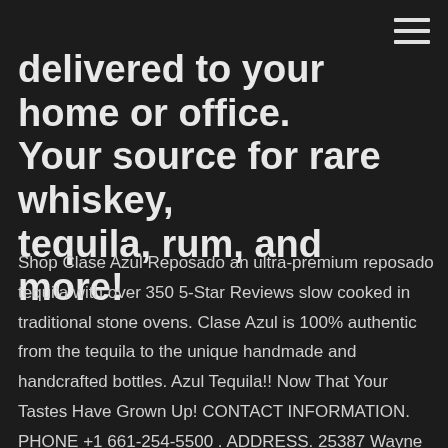delivered to your home or office. Your source for rare whiskey, tequila, rum, and more!
Shop Clase Azul Reposado an ultra-premium reposado tequila with over 350 5-Star Reviews slow cooked in traditional stone ovens. Clase Azul is 100% authentic from the tequila to the unique handmade and handcrafted bottles. Azul Tequila!! Now That Your Tastes Have Grown Up! CONTACT INFORMATION. PHONE +1 661-254-5500 . ADDRESS. 25387 Wayne Mills Pl, Valencia CA, 91355. EMAIL. info Jul 8, 2016 - Explore Sandra Pena's board "Tequilas", followed by 130 people on Pinterest. See more ideas about tequila bottles, tequila, liquor bottles. Tournois De Poker Haute Normandie, casino 3000 munich, 2 dollar